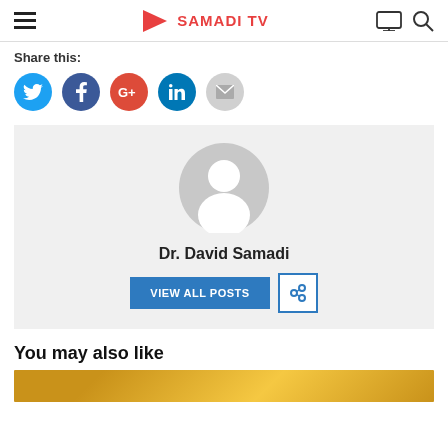SAMADI TV
Share this:
[Figure (other): Social sharing icons: Twitter (blue), Facebook (navy), Google+ (red), LinkedIn (dark teal), Email (gray)]
[Figure (other): Author bio box with default avatar silhouette, name Dr. David Samadi, VIEW ALL POSTS button, and link icon button]
You may also like
[Figure (photo): Partially visible thumbnail image at bottom of page]